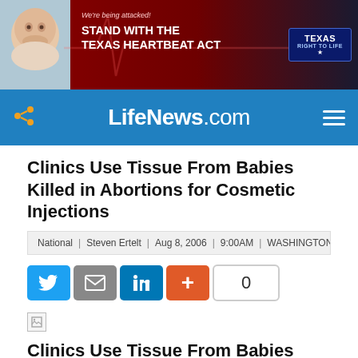[Figure (other): Banner advertisement for Texas Right to Life featuring a baby photo and text 'We're being attacked! STAND WITH THE TEXAS HEARTBEAT ACT' with Texas Right to Life logo]
LifeNews.com
Clinics Use Tissue From Babies Killed in Abortions for Cosmetic Injections
National | Steven Ertelt | Aug 8, 2006 | 9:00AM | WASHINGTON, DC
[Figure (infographic): Social sharing buttons: Twitter, Email, LinkedIn, Plus (+), and share count showing 0]
[Figure (photo): Broken image placeholder (article image failed to load)]
Clinics Use Tissue From Babies Killed in Abortions